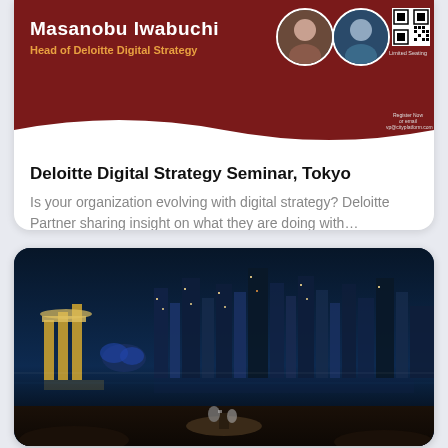[Figure (screenshot): Deloitte Digital Strategy Seminar promotional banner with dark red background, speaker name Masanobu Iwabuchi, title Head of Deloitte Digital Strategy, two circular profile photos, QR code, Limited Seating text, Register Now link]
Deloitte  Digital Strategy Seminar, Tokyo
Is your organization evolving with digital strategy?  Deloitte  Partner sharing insight on what they are doing with...
[Figure (photo): Night cityscape of Singapore with Marina Bay Sands, illuminated skyscrapers reflected in water, interior foreground showing a round table with items, viewed from a high-rise vantage point]